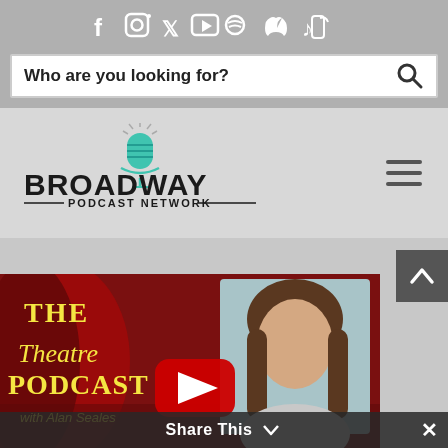[Figure (screenshot): Social media icons in white: Facebook, Instagram, Twitter, YouTube, Spotify, Apple, TikTok on grey background]
[Figure (screenshot): Search bar with placeholder text 'Who are you looking for?' and search icon]
[Figure (logo): Broadway Podcast Network logo with teal microphone icon and text]
[Figure (screenshot): The Theatre Podcast with Alan Seales video thumbnail showing woman with brown hair and YouTube play button, with Share This bar at bottom]